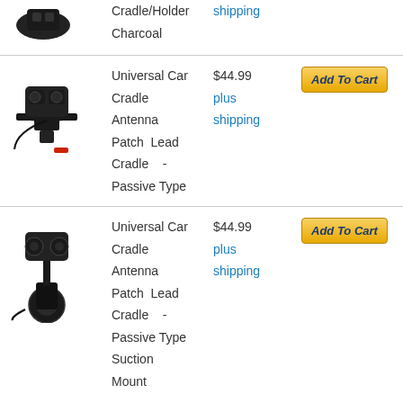Cradle/Holder Charcoal
[Figure (photo): Product photo of universal car cradle with antenna patch lead (passive type) - flat mount style, black color]
Universal Car Cradle Antenna Patch Lead Cradle - Passive Type
$44.99 plus shipping
Add To Cart
[Figure (photo): Product photo of universal car cradle with antenna patch lead (passive type) - suction cup mount style, black color]
Universal Car Cradle Antenna Patch Lead Cradle - Passive Type Suction Mount
$44.99 plus shipping
Add To Cart